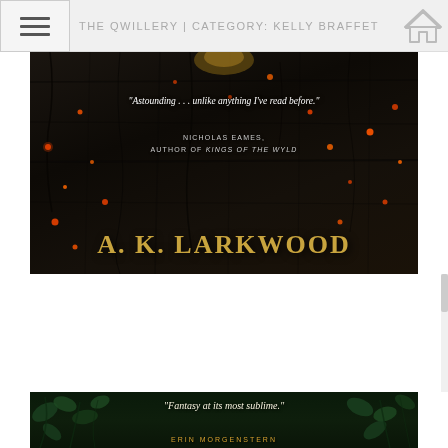THE QWILLERY | CATEGORY: KELLY BRAFFET
[Figure (photo): Book cover section showing A. K. Larkwood author name in gold text on dark wood-textured background with glowing embers/sparks and quote: 'Astounding . . . unlike anything I've read before.' Nicholas Eames, author of Kings of the Wyld]
[Figure (photo): Bottom of another book cover with green leaves/vines on dark background and quote: 'Fantasy at its most sublime.' with author name Erin Morgenstern partially visible]